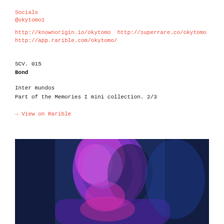Socials
@okytomo1
http://knownorigin.io/okytomo  http://superrare.co/okytomo
http://app.rarible.com/okytomo/
SCV. 015
Bond
Inter mundos
Part of the Memories I mini collection. 2/3
→ View on Rarible
[Figure (photo): Close-up photo of a person's face and head illuminated with purple/magenta neon light against a dark blue background. The face is partially visible, lit dramatically with vivid purple tones.]